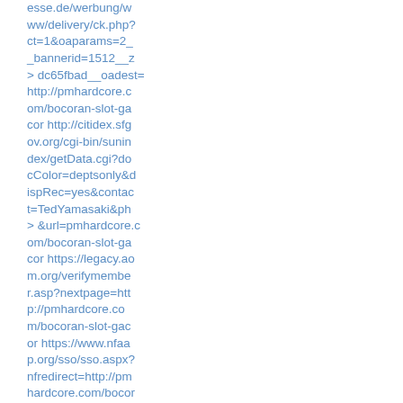esse.de/werbung/www/delivery/ck.php?ct=1&oaparams=2__bannerid=1512__zoneid=697__cb=18dc65fbad__oadest=http://pmhardcore.com/bocoran-slot-gacor http://citidex.sfgov.org/cgi-bin/sunindex/getData.cgi?docColor=deptsonly&dispRec=yes&contact=TedYamasaki&phone=(415)557-4815&url=pmhardcore.com/bocoran-slot-gacor https://legacy.aom.org/verifymember.asp?nextpage=http://pmhardcore.com/bocoran-slot-gacor https://www.nfaap.org/sso/sso.aspx?nfredirect=http://pmhardcore.com/bocoran-slot-gacor https://foaf-visualizer.gnu.org.ua/?url=http://